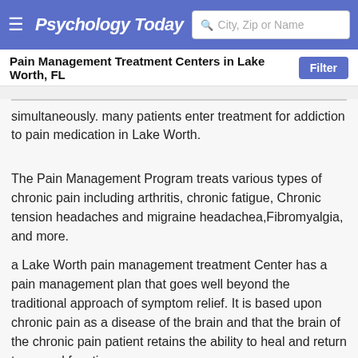Psychology Today — City, Zip or Name search
Pain Management Treatment Centers in Lake Worth, FL
simultaneously. many patients enter treatment for addiction to pain medication in Lake Worth.
The Pain Management Program treats various types of chronic pain including arthritis, chronic fatigue, Chronic tension headaches and migraine headachea,Fibromyalgia, and more.
a Lake Worth pain management treatment Center has a pain management plan that goes well beyond the traditional approach of symptom relief. It is based upon chronic pain as a disease of the brain and that the brain of the chronic pain patient retains the ability to heal and return to normal function.
Chronic pain patients have changes in mood, loss the